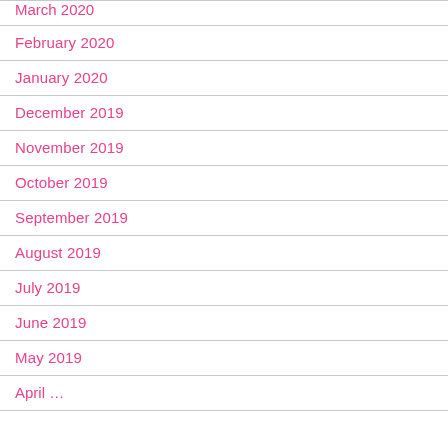March 2020
February 2020
January 2020
December 2019
November 2019
October 2019
September 2019
August 2019
July 2019
June 2019
May 2019
April …